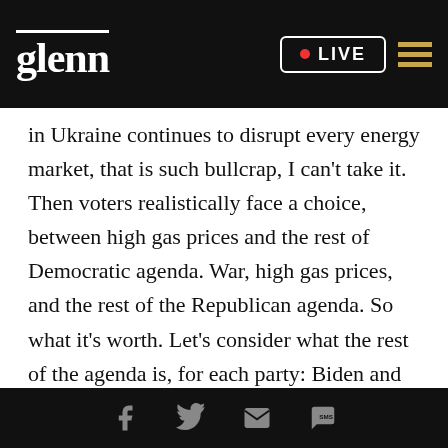glenn LIVE
in Ukraine continues to disrupt every energy market, that is such bullcrap, I can't take it. Then voters realistically face a choice, between high gas prices and the rest of Democratic agenda. War, high gas prices, and the rest of the Republican agenda. So what it's worth. Let's consider what the rest of the agenda is, for each party: Biden and fellow Democrats once promised a cradle-to-grave expansion of the safety net. Plus, measures intended to combat climate change.
Love or hate this program, I very much like it. But
Social share icons: Facebook, Twitter, Email, SMS